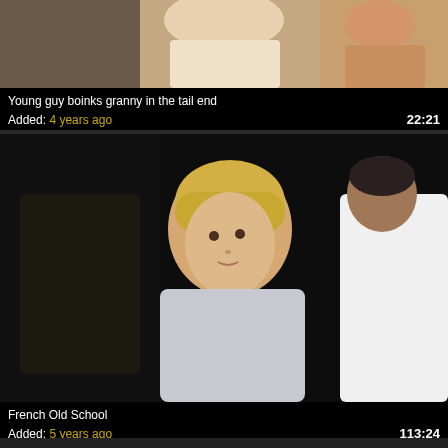[Figure (photo): Video thumbnail showing partial upper body figures in light clothing]
Young guy boinks granny in the tail end
Added: 4 years ago
22:21
[Figure (photo): Video thumbnail showing a blonde woman in white looking at a man in white shirt, French Old School]
French Old School
Added: 5 years ago
113:24